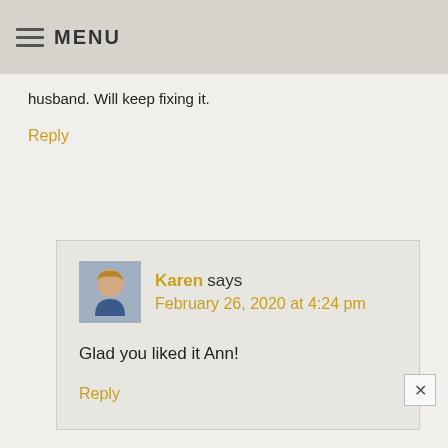MENU
husband. Will keep fixing it.
Reply
[Figure (photo): Avatar photo of Karen, a woman with curly blonde hair wearing a blue patterned top]
Karen says
February 26, 2020 at 4:24 pm
Glad you liked it Ann!
Reply